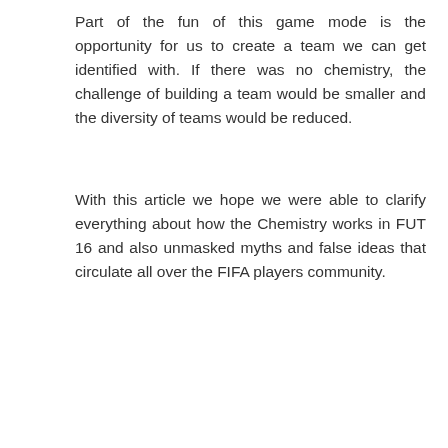Part of the fun of this game mode is the opportunity for us to create a team we can get identified with. If there was no chemistry, the challenge of building a team would be smaller and the diversity of teams would be reduced.
With this article we hope we were able to clarify everything about how the Chemistry works in FUT 16 and also unmasked myths and false ideas that circulate all over the FIFA players community.